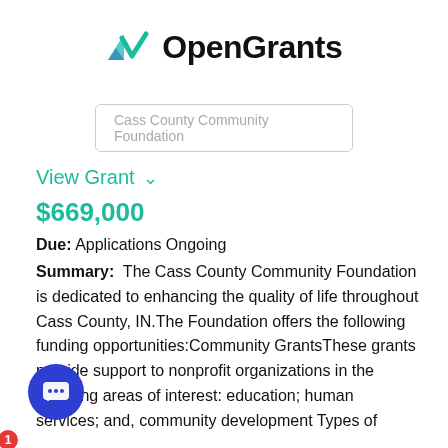[Figure (logo): OpenGrants logo with teal checkmark/arrow icon and bold black text 'OpenGrants']
Cass County Community Foundation
View Grant ∨
$669,000
Due: Applications Ongoing
Summary: The Cass County Community Foundation is dedicated to enhancing the quality of life throughout Cass County, IN.The Foundation offers the following funding opportunities:Community GrantsThese grants provide support to nonprofit organizations in the following areas of interest: education; human services; and, community development Types of